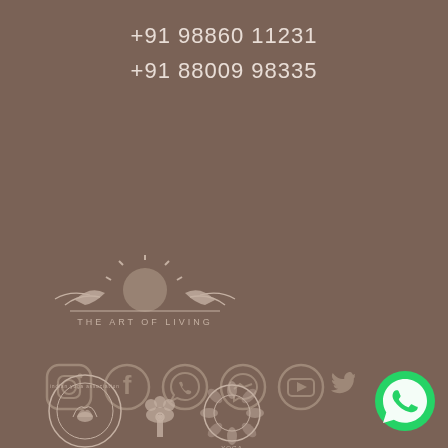+91 98860 11231
+91 88009 98335
[Figure (logo): The Art of Living logo with sun emblem and text]
[Figure (infographic): Social media icons: Instagram, Facebook, WhatsApp, Messenger, YouTube, Twitter]
[Figure (logo): Bottom logos: Indian Yoga Association, Government of India emblem, Yoga certification logo]
[Figure (logo): WhatsApp green button icon]